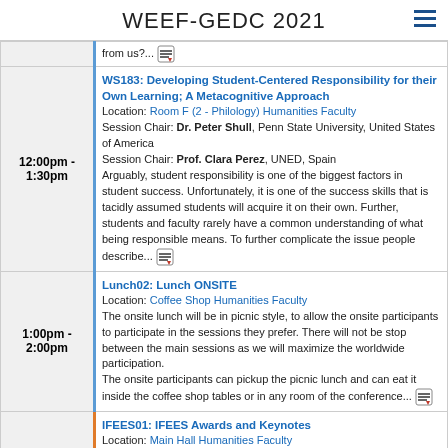WEEF-GEDC 2021
from us?...
12:00pm - 1:30pm | WS183: Developing Student-Centered Responsibility for their Own Learning; A Metacognitive Approach
Location: Room F (2 - Philology) Humanities Faculty
Session Chair: Dr. Peter Shull, Penn State University, United States of America
Session Chair: Prof. Clara Perez, UNED, Spain
Arguably, student responsibility is one of the biggest factors in student success. Unfortunately, it is one of the success skills that is tacidly assumed students will acquire it on their own. Further, students and faculty rarely have a common understanding of what being responsible means. To further complicate the issue people describe...
1:00pm - 2:00pm | Lunch02: Lunch ONSITE
Location: Coffee Shop Humanities Faculty
The onsite lunch will be in picnic style, to allow the onsite participants to participate in the sessions they prefer. There will not be stop between the main sessions as we will maximize the worldwide participation.
The onsite participants can pickup the picnic lunch and can eat it inside the coffee shop tables or in any room of the conference...
1:30pm - 3:30pm | IFEES01: IFEES Awards and Keynotes
Location: Main Hall Humanities Faculty
Session Chair: Dr. Alaa Ashmawy, IFEES, Egypt
Session Chair: PJ Boardman, MathWorks, United States of America
Session Chair: Prof. Michael Auer, IAOE, Austria
IFEES Awards and Keynotes

Welcome: Alaa Ashmawy
Commemoration of Luis Scavarda: Uriel Cukierman
IFEES Duncan Fraser Award History: Ariela Sofer